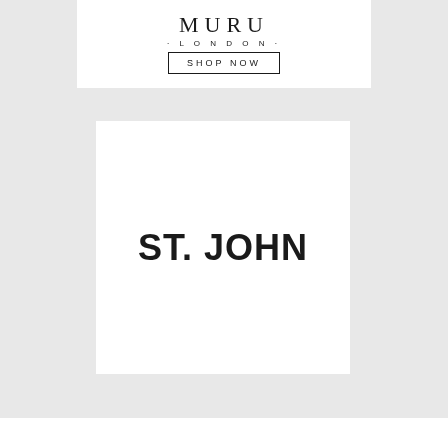[Figure (logo): MURU LONDON brand advertisement banner with 'SHOP NOW' button]
[Figure (logo): ST. JOHN brand logo on white square background]